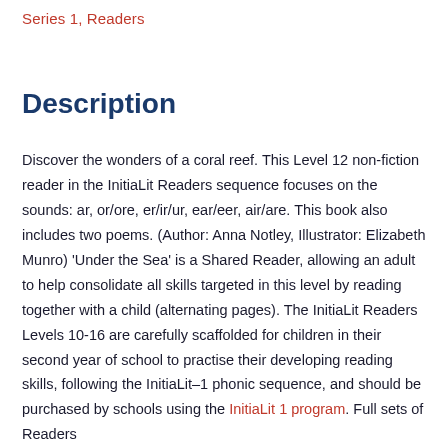Series 1, Readers
Description
Discover the wonders of a coral reef. This Level 12 non-fiction reader in the InitiaLit Readers sequence focuses on the sounds: ar, or/ore, er/ir/ur, ear/eer, air/are. This book also includes two poems. (Author: Anna Notley, Illustrator: Elizabeth Munro) 'Under the Sea' is a Shared Reader, allowing an adult to help consolidate all skills targeted in this level by reading together with a child (alternating pages). The InitiaLit Readers Levels 10-16 are carefully scaffolded for children in their second year of school to practise their developing reading skills, following the InitiaLit–1 phonic sequence, and should be purchased by schools using the InitiaLit 1 program. Full sets of Readers